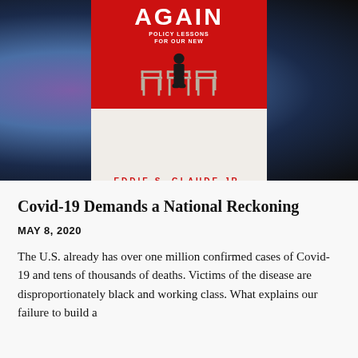[Figure (photo): Book cover of 'Begin Again' by Eddie S. Glaude Jr., displayed against a dark blue-purple gradient background. The cover features a red top half with the word 'AGAIN' in large white letters and smaller subtitle text, and a white/grey bottom half showing a man sitting on a chair flanked by two empty chairs, with the author name 'EDDIE S. GLAUDE JR.' in red letters at the bottom.]
Covid-19 Demands a National Reckoning
MAY 8, 2020
The U.S. already has over one million confirmed cases of Covid-19 and tens of thousands of deaths. Victims of the disease are disproportionately black and working class. What explains our failure to build a